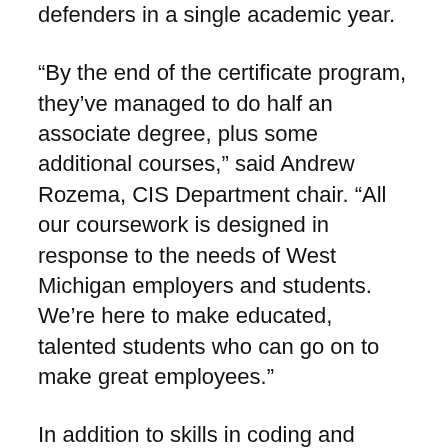defenders in a single academic year.
“By the end of the certificate program, they’ve managed to do half an associate degree, plus some additional courses,” said Andrew Rozema, CIS Department chair. “All our coursework is designed in response to the needs of West Michigan employers and students. We’re here to make educated, talented students who can go on to make great employees.”
In addition to skills in coding and operating systems, the program ties closely to many of the top industry-recognized cybersecurity certifications.
“By earning these certifications, it really shows